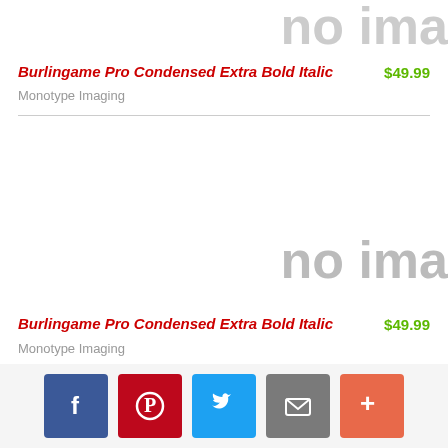[Figure (other): Partial 'no ima' text visible at top right, indicating a missing product image placeholder]
Burlingame Pro Condensed Extra Bold Italic
$49.99
Monotype Imaging
[Figure (other): 'no ima' placeholder text indicating missing product image]
Burlingame Pro Condensed Extra Bold Italic
$49.99
Monotype Imaging
[Figure (infographic): Social sharing bar with Facebook, Pinterest, Twitter, Email, and More buttons]